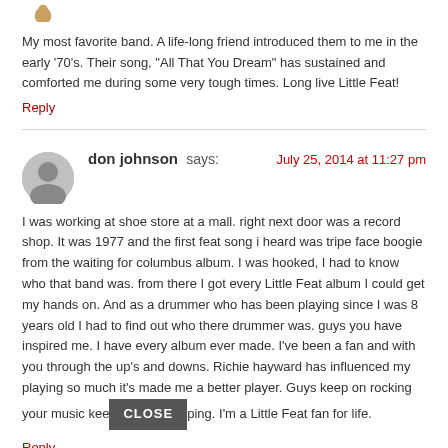[Figure (photo): User avatar thumbnail at top, partially visible]
My most favorite band. A life-long friend introduced them to me in the early '70's. Their song, "All That You Dream" has sustained and comforted me during some very tough times. Long live Little Feat!
Reply
[Figure (photo): Generic user avatar circle icon for don johnson]
don johnson says: July 25, 2014 at 11:27 pm
I was working at shoe store at a mall. right next door was a record shop. It was 1977 and the first feat song i heard was tripe face boogie from the waiting for columbus album. I was hooked, I had to know who that band was. from there I got every Little Feat album I could get my hands on. And as a drummer who has been playing since I was 8 years old I had to find out who there drummer was. guys you have inspired me. I have every album ever made. I've been a fan and with you through the up's and downs. Richie hayward has influenced my playing so much it's made me a better player. Guys keep on rocking your music keep flowing. I'm a Little Feat fan for life.
Reply